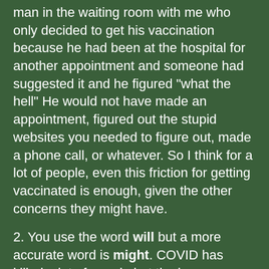man in the waiting room with me who only decided to get his vaccination because he had been at the hospital for another appointment and someone had suggested it and he figured "what the hell" He would not have made an appointment, figured out the stupid websites you needed to figure out, made a phone call, or whatever. So I think for a lot of people, even this friction for getting vaccinated is enough, given the other concerns they might have.
2. You use the word will but a more accurate word is might. COVID has killed a lot of people but the large majority of people who get COVID live. I do not mean to pooh-pooh the very real COVID effects people live with and all the rest, but it doesn't kill most people who get it. Contrast that to the side effect possibilities of the vaccine (both real and imagined) and people being bad with numbers so they figure their risks are higher than they are. For example, tinnitus side effects are once per every 40,000 vaccine doses - this absolutely sucks for the people who experience it, but it's also less than